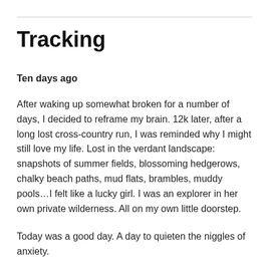Tracking
Ten days ago
After waking up somewhat broken for a number of days, I decided to reframe my brain.  12k later, after a long lost cross-country run, I was reminded why I might still love my life.  Lost in the verdant landscape: snapshots of summer fields, blossoming hedgerows, chalky beach paths, mud flats, brambles, muddy pools…I felt like a lucky girl.  I was an explorer in her own private wilderness.  All on my own little doorstep.
Today was a good day.  A day to quieten the niggles of anxiety.